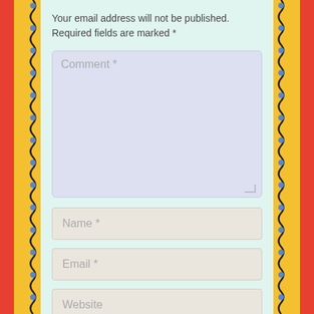Your email address will not be published. Required fields are marked *
Comment *
Name *
Email *
Website
Notify me of follow-up comments by